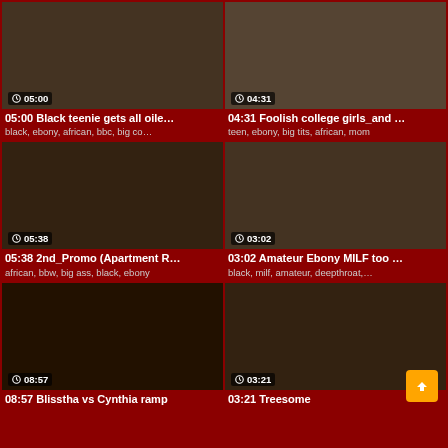[Figure (screenshot): Video thumbnail grid showing adult content videos with durations and tags]
05:00 Black teenie gets all oile...
black, ebony, african, bbc, big co...
04:31 Foolish college girls_and ...
teen, ebony, big tits, african, mom
05:38 2nd_Promo (Apartment R...
african, bbw, big ass, black, ebony
03:02 Amateur Ebony MILF too ...
black, milf, amateur, deepthroat,...
08:57 Blisstha vs Cynthia ramp
03:21 Treesome